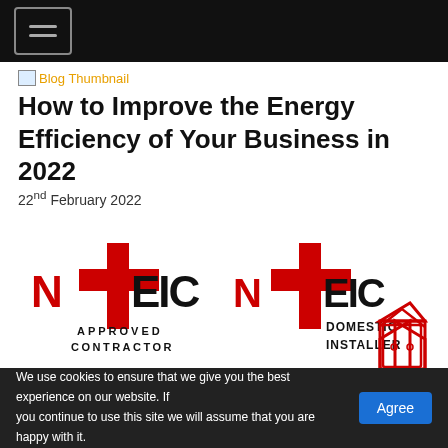[Figure (screenshot): Blog thumbnail image placeholder with orange link text 'Blog Thumbnail']
How to Improve the Energy Efficiency of Your Business in 2022
22nd February 2022
[Figure (logo): NICEIC Approved Contractor logo — red and black lettering]
[Figure (logo): NICEIC Domestic Installer logo — red and black lettering with house icon]
[Figure (logo): QMS ISO 9001:2015 certification logo — blue circle with QMS text and ISO badge]
[Figure (logo): QMS ISO 14001:2015 certification logo — blue circle with QMS text and ISO badge]
We use cookies to ensure that we give you the best experience on our website. If you continue to use this site we will assume that you are happy with it. Agree